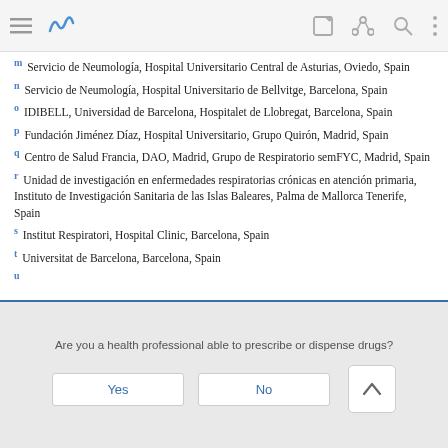Navigation bar with menu, logo, edit, share, search, more icons
m Servicio de Neumología, Hospital Universitario Central de Asturias, Oviedo, Spain
n Servicio de Neumología, Hospital Universitario de Bellvitge, Barcelona, Spain
o IDIBELL, Universidad de Barcelona, Hospitalet de Llobregat, Barcelona, Spain
p Fundación Jiménez Díaz, Hospital Universitario, Grupo Quirón, Madrid, Spain
q Centro de Salud Francia, DAO, Madrid, Grupo de Respiratorio semFYC, Madrid, Spain
r Unidad de investigación en enfermedades respiratorias crónicas en atención primaria, Instituto de Investigación Sanitaria de las Islas Baleares, Palma de Mallorca Tenerife, Spain
s Institut Respiratori, Hospital Clinic, Barcelona, Spain
t Universitat de Barcelona, Barcelona, Spain
Are you a health professional able to prescribe or dispense drugs?